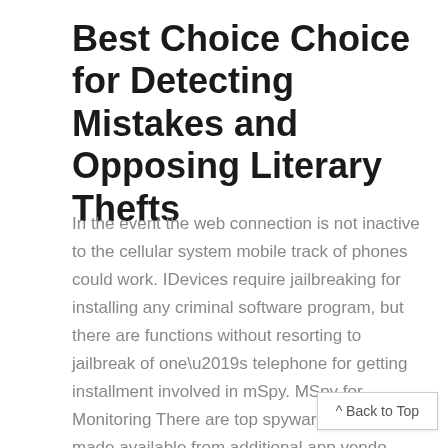Best Choice Choice for Detecting Mistakes and Opposing Literary Thefts
In the event the web connection is not inactive to the cellular system mobile track of phones could work. IDevices require jailbreaking for installing any criminal software program, but there are functions without resorting to jailbreak of one’s telephone for getting installment involved in mSpy. MSpy for Monitoring There are top spyware actions made available from additional app vendo iPads, laptops, devices alike, but this